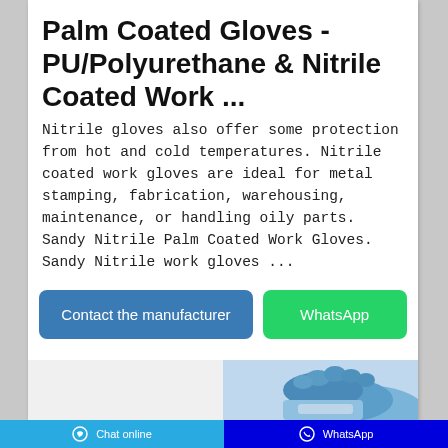Palm Coated Gloves - PU/Polyurethane & Nitrile Coated Work ...
Nitrile gloves also offer some protection from hot and cold temperatures. Nitrile coated work gloves are ideal for metal stamping, fabrication, warehousing, maintenance, or handling oily parts. Sandy Nitrile Palm Coated Work Gloves. Sandy Nitrile work gloves ...
[Figure (screenshot): Two call-to-action buttons: a blue 'Contact the manufacturer' button and a green 'WhatsApp' button]
[Figure (photo): Partial photo of a blue nitrile glove being worn, shown from the wrist area]
Chat online   WhatsApp